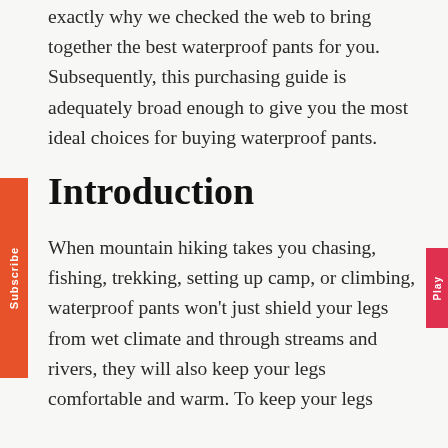exactly why we checked the web to bring together the best waterproof pants for you. Subsequently, this purchasing guide is adequately broad enough to give you the most ideal choices for buying waterproof pants.
Introduction
When mountain hiking takes you chasing, fishing, trekking, setting up camp, or climbing, waterproof pants won't just shield your legs from wet climate and through streams and rivers, they will also keep your legs comfortable and warm. To keep your legs